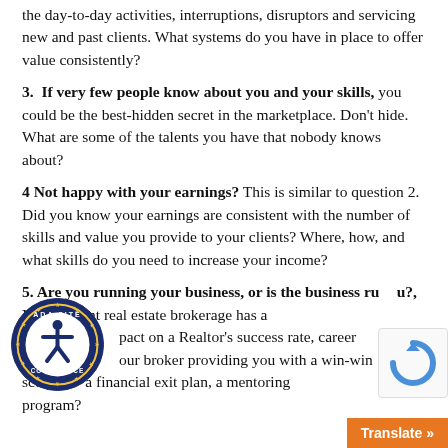the day-to-day activities, interruptions, disruptors and servicing new and past clients. What systems do you have in place to offer value consistently?
3.  If very few people know about you and your skills, you could be the best-hidden secret in the marketplace. Don't hide. What are some of the talents you have that nobody knows about?
4 Not happy with your earnings? This is similar to question 2. Did you know your earnings are consistent with the number of skills and value you provide to your clients? Where, how, and what skills do you need to increase your income?
5. Are you running your business, or is the business running you?, Your current real estate brokerage has a [...]pact on a Realtor's success rate, career [...] our broker providing you with a win-win sce[...] a financial exit plan, a mentoring [...] program?